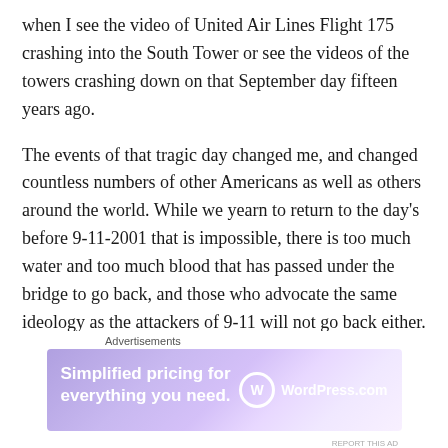when I see the video of United Air Lines Flight 175 crashing into the South Tower or see the videos of the towers crashing down on that September day fifteen years ago.
The events of that tragic day changed me, and changed countless numbers of other Americans as well as others around the world. While we yearn to return to the day’s before 9-11-2001 that is impossible, there is too much water and too much blood that has passed under the bridge to go back, and those who advocate the same ideology as the attackers of 9-11 will not go back either.
As for me, I know that I can’t go back. But as much as I
Advertisements
[Figure (illustration): WordPress.com advertisement banner with gradient purple background. Text reads 'Simplified pricing for everything you need.' with WordPress.com logo on the right.]